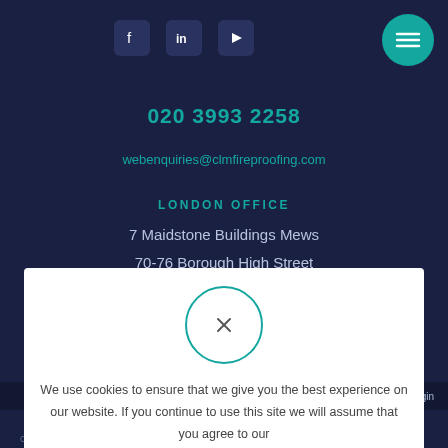[Figure (infographic): Social media icons: Facebook, LinkedIn, YouTube rounded square buttons in dark navy]
[Figure (infographic): Teal circular hamburger menu button in top right corner]
020 3993 2258
webenquiries@clmfireproofing.com
LONDON OFFICE
7 Maidstone Buildings Mews
70-76 Borough High Street
[Figure (infographic): Cookie consent modal overlay with teal circle X close button]
We use cookies to ensure that we give you the best experience on our website. If you continue to use this site we will assume that you agree to our Cookie Policy
Company Registration No. 04410001 © 2023 by CLM Web Design...
Login